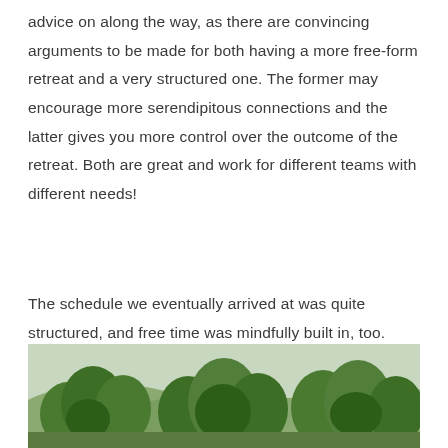advice on along the way, as there are convincing arguments to be made for both having a more free-form retreat and a very structured one. The former may encourage more serendipitous connections and the latter gives you more control over the outcome of the retreat. Both are great and work for different teams with different needs!
The schedule we eventually arrived at was quite structured, and free time was mindfully built in, too.
[Figure (photo): Outdoor landscape photograph showing trees and foliage against a sky background, viewed from below or at ground level.]